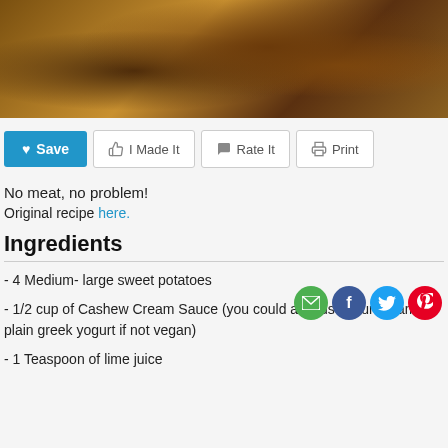[Figure (photo): Close-up photo of food dish with sweet potatoes, berries, cream sauce and toppings on a wooden background]
Save | I Made It | Rate It | Print (action buttons)
No meat, no problem!
Original recipe here.
Ingredients
- 4 Medium- large sweet potatoes
- 1/2 cup of Cashew Cream Sauce (you could also use sour cream or plain greek yogurt if not vegan)
- 1 Teaspoon of lime juice